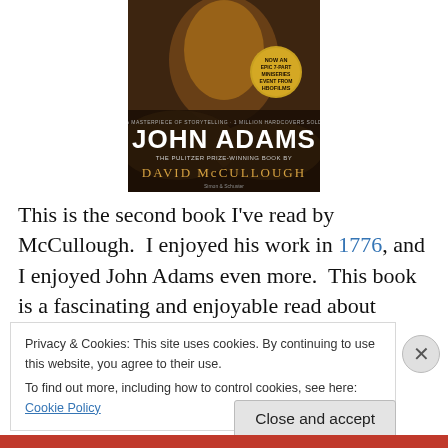[Figure (photo): Book cover of 'John Adams' by David McCullough, showing a historical portrait with a gold medallion badge reading 'Now an Epic 7-Part Miniseries Event from HBO Films']
This is the second book I've read by McCullough.  I enjoyed his work in 1776, and I enjoyed John Adams even more.  This book is a fascinating and enjoyable read about
Privacy & Cookies: This site uses cookies. By continuing to use this website, you agree to their use.
To find out more, including how to control cookies, see here: Cookie Policy